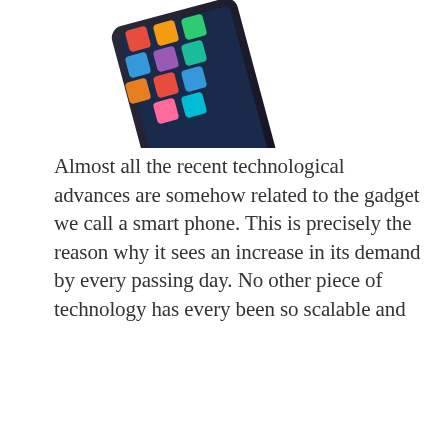[Figure (photo): Colorful smartphone with app icons floating above it, partially visible at top of page]
Almost all the recent technological advances are somehow related to the gadget we call a smart phone. This is precisely the reason why it sees an increase in its demand by every passing day. No other piece of technology has every been so scalable and
Exploring The BlackBerry Z30 At 39990 Rupees
by Ajay Chauhan — Leave a Comment
[Figure (photo): Hand holding a BlackBerry Z30 smartphone, partially visible at bottom of page]